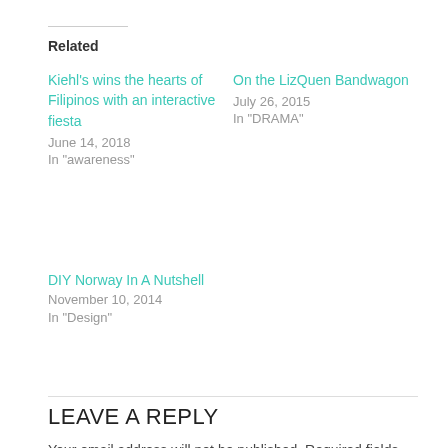Related
Kiehl's wins the hearts of Filipinos with an interactive fiesta
June 14, 2018
In "awareness"
On the LizQuen Bandwagon
July 26, 2015
In "DRAMA"
DIY Norway In A Nutshell
November 10, 2014
In "Design"
LEAVE A REPLY
Your email address will not be published. Required fields are marked *